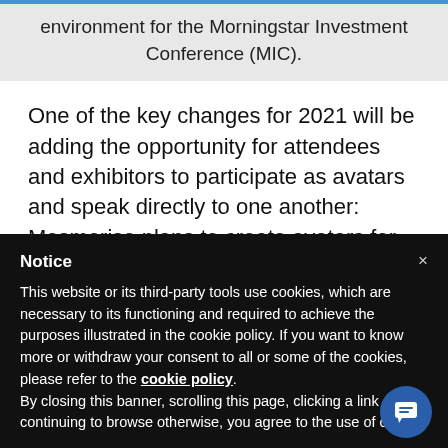environment for the Morningstar Investment Conference (MIC).
One of the key changes for 2021 will be adding the opportunity for attendees and exhibitors to participate as avatars and speak directly to one another: Mesmerise plans to create avatars for
Notice
This website or its third-party tools use cookies, which are necessary to its functioning and required to achieve the purposes illustrated in the cookie policy. If you want to know more or withdraw your consent to all or some of the cookies, please refer to the cookie policy.
By closing this banner, scrolling this page, clicking a link or continuing to browse otherwise, you agree to the use of co